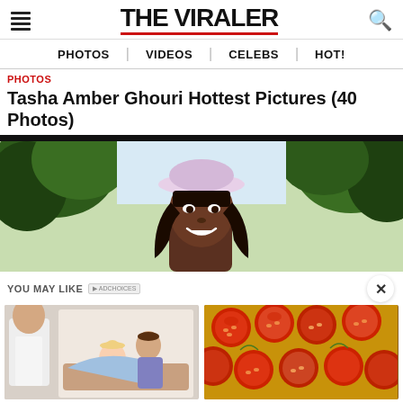THE VIRALER
PHOTOS | VIDEOS | CELEBS | HOT!
PHOTOS
Tasha Amber Ghouri Hottest Pictures (40 Photos)
[Figure (photo): Young woman with long dark hair wearing a pink/white bucket hat, smiling outdoors with green trees in background]
YOU MAY LIKE
[Figure (illustration): Ad image showing a doctor and cartoon illustration of couple; Sex Lasts More Than 3 Hours Without Viagra! Write Down The Recipe]
[Figure (photo): Ad image showing roasted cherry tomatoes; These 2 Vegetables Will Kill Your Belly Fat Overnight!]
Sex Lasts More Than 3 Hours Without Viagra! Write Down The Recipe
These 2 Vegetables Will Kill Your Belly Fat Overnight!